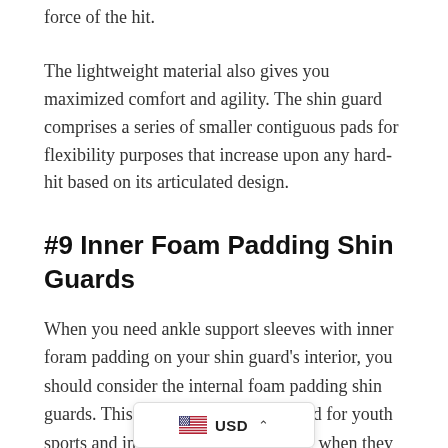force of the hit. The lightweight material also gives you maximized comfort and agility. The shin guard comprises a series of smaller contiguous pads for flexibility purposes that increase upon any hard-hit based on its articulated design.
#9 Inner Foam Padding Shin Guards
When you need ankle support sleeves with inner foram padding on your shin guard's interior, you should consider the internal foam padding shin guards. This type of shin guard is used for youth sports and in soccer for young people when they need extra ankle and chin protection. You can even get flexible padding for both sides of the ankle, making this a choice when